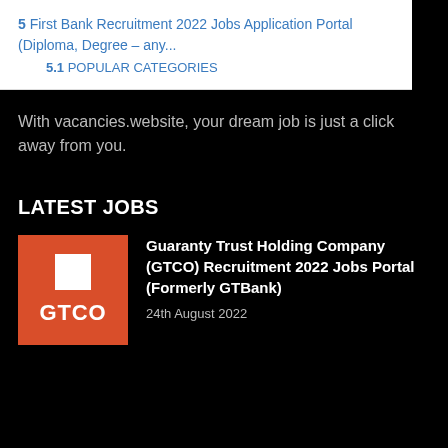5  First Bank Recruitment 2022 Jobs Application Portal (Diploma, Degree – any...
5.1  POPULAR CATEGORIES
With vacancies.website, your dream job is just a click away from you.
LATEST JOBS
[Figure (logo): GTCO logo — orange square background with a white square icon and white bold text 'GTCO']
Guaranty Trust Holding Company (GTCO) Recruitment 2022 Jobs Portal (Formerly GTBank)
24th August 2022